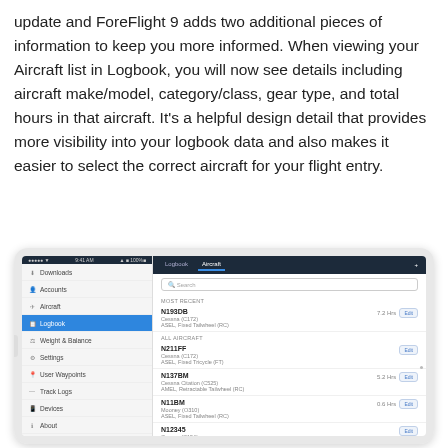update and ForeFlight 9 adds two additional pieces of information to keep you more informed. When viewing your Aircraft list in Logbook, you will now see details including aircraft make/model, category/class, gear type, and total hours in that aircraft. It's a helpful design detail that provides more visibility into your logbook data and also makes it easier to select the correct aircraft for your flight entry.
[Figure (screenshot): iPad screenshot showing ForeFlight Logbook app with Aircraft list. The interface shows a sidebar with menu items (Downloads, Accounts, Aircraft, Logbook highlighted in blue, Weight & Balance, Settings, User Waypoints, Track Logs, Devices, About) and a main panel showing Aircraft section with a search bar, MOST RECENT and ALL AIRCRAFT sections listing tail numbers (N193DB, N211FF, N137BM, N11BM, N12345, N135DM) with aircraft details and hours.]